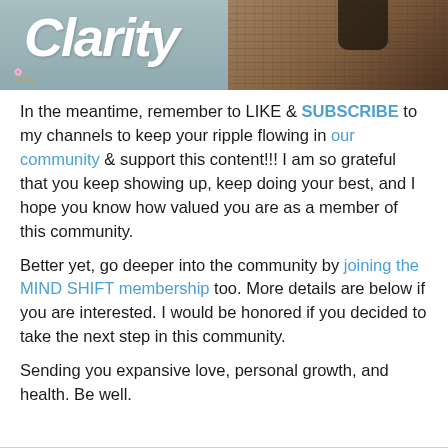[Figure (photo): Top portion of a thumbnail or banner image showing the word 'Clarity' in large white italic text on a teal/grey background, with a person in a plaid blazer visible on the right side, and a small watermark logo in the bottom left reading 'dayadji']
In the meantime, remember to LIKE & SUBSCRIBE to my channels to keep your ripple flowing in our community & support this content!!! I am so grateful that you keep showing up, keep doing your best, and I hope you know how valued you are as a member of this community.
Better yet, go deeper into the community by joining the MIND SHIFT membership too. More details are below if you are interested. I would be honored if you decided to take the next step in this community.
Sending you expansive love, personal growth, and health. Be well.